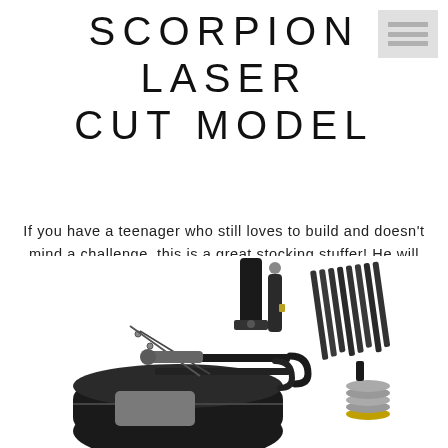SCORPION LASER CUT MODEL
If you have a teenager who still loves to build and doesn't mind a challenge, this is a great stocking stuffer! He will love spending quiet hours putting together this intricate scorpion, no glue required ($7).
[Figure (photo): Flat lay of black tool/kit components spread out, showing various rods, hooks, a strap, and other parts on a white background.]